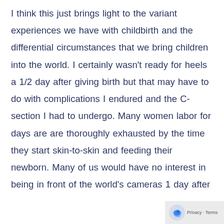I think this just brings light to the variant experiences we have with childbirth and the differential circumstances that we bring children into the world. I certainly wasn't ready for heels a 1/2 day after giving birth but that may have to do with complications I endured and the C-section I had to undergo. Many women labor for days are are thoroughly exhausted by the time they start skin-to-skin and feeding their newborn. Many of us would have no interest in being in front of the world's cameras 1 day after